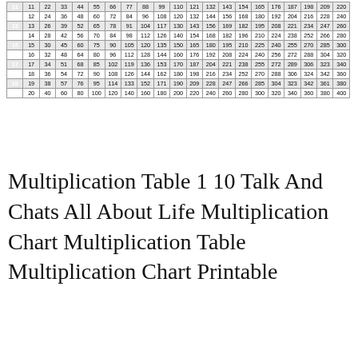|  | 1 | 2 | 3 | 4 | 5 | 6 | 7 | 8 | 9 | 10 | 11 | 12 | 13 | 14 | 15 | 16 | 17 | 18 | 19 | 20 |
| --- | --- | --- | --- | --- | --- | --- | --- | --- | --- | --- | --- | --- | --- | --- | --- | --- | --- | --- | --- | --- |
| 11 | 11 | 22 | 33 | 44 | 55 | 66 | 77 | 88 | 99 | 110 | 121 | 132 | 143 | 154 | 165 | 176 | 187 | 198 | 209 | 220 |
| 12 | 12 | 24 | 36 | 48 | 60 | 72 | 84 | 96 | 108 | 120 | 132 | 144 | 156 | 168 | 180 | 192 | 204 | 216 | 228 | 240 |
| 13 | 13 | 26 | 39 | 52 | 65 | 78 | 91 | 104 | 117 | 130 | 143 | 156 | 169 | 182 | 195 | 208 | 221 | 234 | 247 | 260 |
| 14 | 14 | 28 | 42 | 56 | 70 | 84 | 98 | 112 | 126 | 140 | 154 | 168 | 182 | 196 | 210 | 224 | 238 | 252 | 266 | 280 |
| 15 | 15 | 30 | 45 | 60 | 75 | 90 | 105 | 120 | 135 | 150 | 165 | 180 | 195 | 210 | 225 | 240 | 255 | 270 | 285 | 300 |
| 16 | 16 | 32 | 48 | 64 | 80 | 96 | 112 | 128 | 144 | 160 | 176 | 192 | 208 | 224 | 240 | 256 | 272 | 288 | 304 | 320 |
| 17 | 17 | 34 | 51 | 68 | 85 | 102 | 119 | 136 | 153 | 170 | 187 | 204 | 221 | 238 | 255 | 272 | 289 | 306 | 323 | 340 |
| 18 | 18 | 36 | 54 | 72 | 90 | 108 | 126 | 144 | 162 | 180 | 198 | 216 | 234 | 252 | 270 | 288 | 306 | 324 | 342 | 360 |
| 19 | 19 | 38 | 57 | 76 | 95 | 114 | 133 | 152 | 171 | 190 | 209 | 228 | 247 | 266 | 285 | 304 | 323 | 342 | 361 | 380 |
| 20 | 20 | 40 | 60 | 80 | 100 | 120 | 140 | 160 | 180 | 200 | 220 | 240 | 260 | 280 | 300 | 320 | 340 | 360 | 380 | 400 |
Multiplication Table 1 10 Talk And Chats All About Life Multiplication Chart Multiplication Table Multiplication Chart Printable